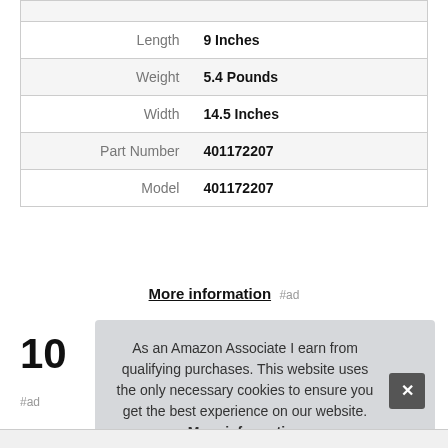| Length | 9 Inches |
| Weight | 5.4 Pounds |
| Width | 14.5 Inches |
| Part Number | 401172207 |
| Model | 401172207 |
More information #ad
10
#ad
As an Amazon Associate I earn from qualifying purchases. This website uses the only necessary cookies to ensure you get the best experience on our website. More information